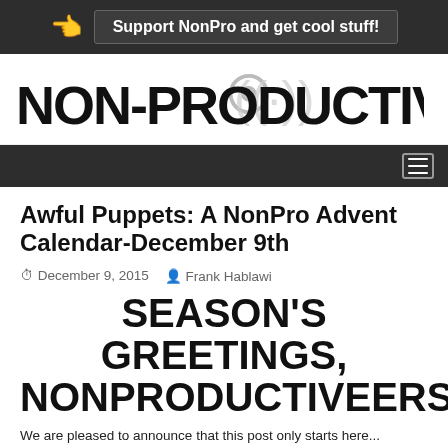Support NonPro and get cool stuff!
[Figure (logo): Non-Productive.com website logo with radio signal icon]
Awful Puppets: A NonPro Advent Calendar-December 9th
December 9, 2015   Frank Hablawi
SEASON'S GREETINGS, NONPRODUCTIVEERS!
We are pleased to announce that this post only starts here...